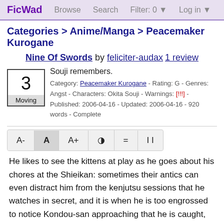FicWad   Browse   Search   Filter: 0 ▼   Log in ▼
Categories > Anime/Manga > Peacemaker Kurogane
Nine Of Swords by feliciter-audax 1 review
Souji remembers.
Category: Peacemaker Kurogane - Rating: G - Genres: Angst - Characters: Okita Souji - Warnings: [!!!] - Published: 2006-04-16 - Updated: 2006-04-16 - 920 words - Complete
He likes to see the kittens at play as he goes about his chores at the Shieikan: sometimes their antics can even distract him from the kenjutsu sessions that he watches in secret, and it is when he is too engrossed to notice Kondou-san approaching that he is caught, and begins his first formal lesson at the age of nine.